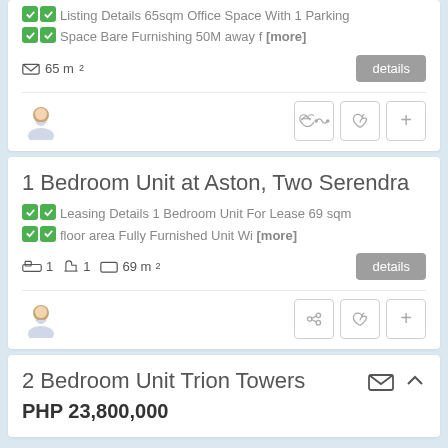Listing Details 65sqm Office Space With 1 Parking Space Bare Furnishing 50M away f [more]
65 m²
1 Bedroom Unit at Aston, Two Serendra
Leasing Details 1 Bedroom Unit For Lease 69 sqm floor area Fully Furnished Unit Wi [more]
1  1  69 m²
2 Bedroom Unit Trion Towers
PHP 23,800,000